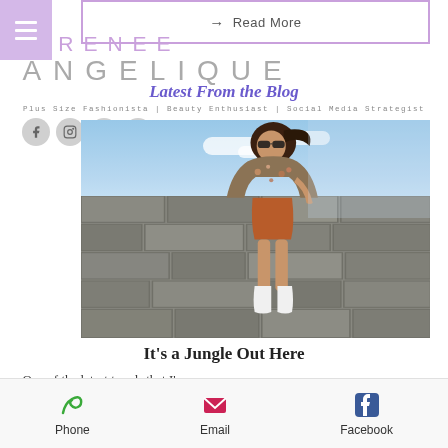→ Read More
RENEE
ANGELIQUE
Latest From the Blog
Plus Size Fashionista | Beauty Enthusiast | Social Media Strategist
[Figure (photo): Fashion blogger in floral jacket and rust-colored mini skirt posing against a stone wall by the sea]
It's a Jungle Out Here
One of the latest trends that I've seen on my news feed is animal print. Honestly I'm not...
Phone | Email | Facebook